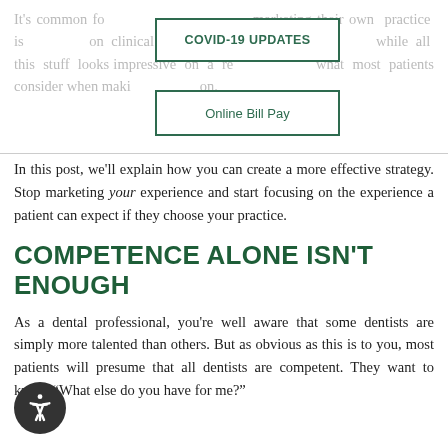It's common for dentists to focus on marketing their own practice is focused on clinical skills, experience and credentials while all this stuff looks impressive on a resume, what most patients consider when making a decision.
[Figure (other): COVID-19 UPDATES button with green border]
[Figure (other): Online Bill Pay button with green border]
In this post, we'll explain how you can create a more effective strategy. Stop marketing your experience and start focusing on the experience a patient can expect if they choose your practice.
COMPETENCE ALONE ISN'T ENOUGH
As a dental professional, you're well aware that some dentists are simply more talented than others. But as obvious as this is to you, most patients will presume that all dentists are competent. They want to know, "What else do you have for me?"